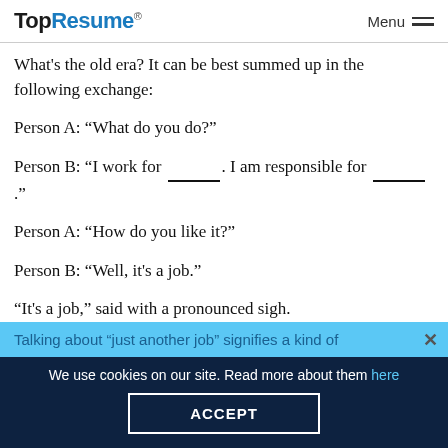TopResume® Menu
What's the old era? It can be best summed up in the following exchange:
Person A: “What do you do?”
Person B: “I work for _____. I am responsible for _____.”
Person A: “How do you like it?”
Person B: “Well, it's a job.”
“It's a job,” said with a pronounced sigh.
Talking about “just another job” signifies a kind of
We use cookies on our site. Read more about them here
ACCEPT